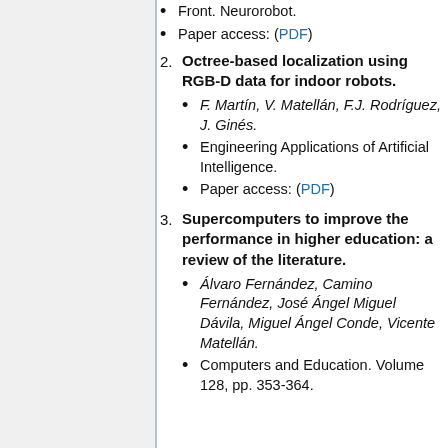Front. Neurorobot.
Paper access: (PDF)
Octree-based localization using RGB-D data for indoor robots.
F. Martín, V. Matellán, F.J. Rodríguez, J. Ginés.
Engineering Applications of Artificial Intelligence.
Paper access: (PDF)
Supercomputers to improve the performance in higher education: a review of the literature.
Álvaro Fernández, Camino Fernández, José Ángel Miguel Dávila, Miguel Ángel Conde, Vicente Matellán.
Computers and Education. Volume 128, pp. 353-364.